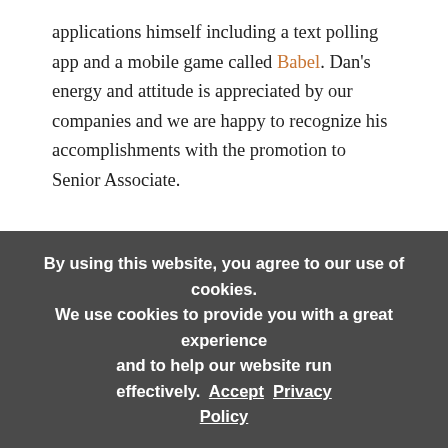applications himself including a text polling app and a mobile game called Babel. Dan's energy and attitude is appreciated by our companies and we are happy to recognize his accomplishments with the promotion to Senior Associate.

Finally, we are also announcing that Hope Cochran is joining Madrona as a Venture Partner. Hope most recently was the CFO of London-based, King Digital, which we all know as the creator of Candy Crush and other successful mobile games. At King, she helped lead the company through explosive revenue and employee growth, a successful IPO and a $5.9 billion acquisition by Activision
By using this website, you agree to our use of cookies. We use cookies to provide you with a great experience and to help our website run effectively.  Accept  Privacy Policy